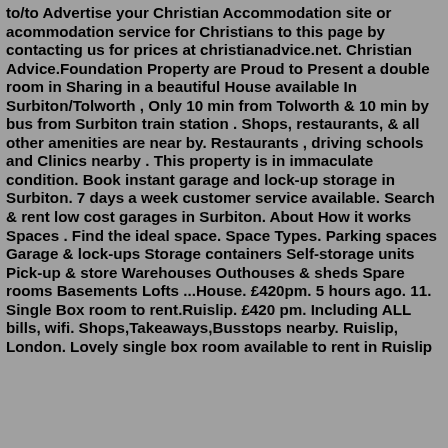to/to Advertise your Christian Accommodation site or accommodation service for Christians to this page by contacting us for prices at christianadvice.net. Christian Advice.Foundation Property are Proud to Present a double room in Sharing in a beautiful House available In Surbiton/Tolworth , Only 10 min from Tolworth & 10 min by bus from Surbiton train station . Shops, restaurants, & all other amenities are near by. Restaurants , driving schools and Clinics nearby . This property is in immaculate condition. Book instant garage and lock-up storage in Surbiton. 7 days a week customer service available. Search & rent low cost garages in Surbiton. About How it works Spaces . Find the ideal space. Space Types. Parking spaces Garage & lock-ups Storage containers Self-storage units Pick-up & store Warehouses Outhouses & sheds Spare rooms Basements Lofts ...House. £420pm. 5 hours ago. 11. Single Box room to rent.Ruislip. £420 pm. Including ALL bills, wifi. Shops,Takeaways,Busstops nearby. Ruislip, London. Lovely single box room available to rent in Ruislip